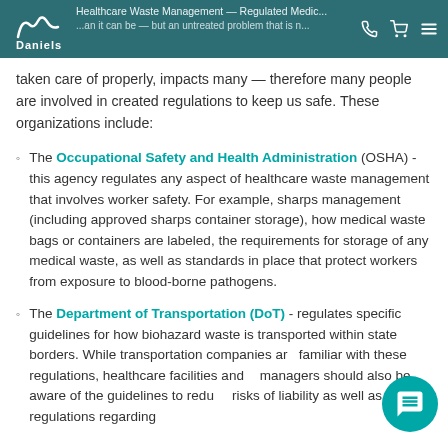Daniels — Healthcare Waste Management — Regulated Medical Waste — (partial heading)
taken care of properly, impacts many — therefore many people are involved in created regulations to keep us safe. These organizations include:
The Occupational Safety and Health Administration (OSHA) - this agency regulates any aspect of healthcare waste management that involves worker safety. For example, sharps management (including approved sharps container storage), how medical waste bags or containers are labeled, the requirements for storage of any medical waste, as well as standards in place that protect workers from exposure to blood-borne pathogens.
The Department of Transportation (DoT) - regulates specific guidelines for how biohazard waste is transported within state borders. While transportation companies are familiar with these regulations, healthcare facilities and managers should also be aware of the guidelines to reduce risks of liability as well as regulations regarding